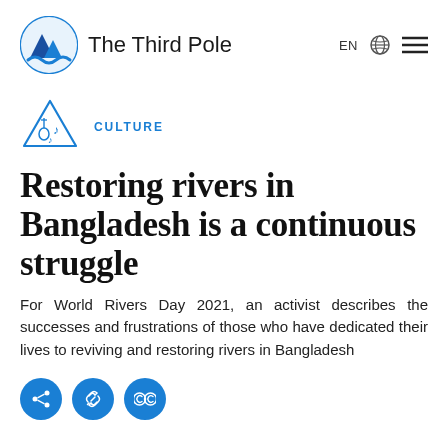The Third Pole | EN
[Figure (logo): The Third Pole logo: blue circular icon with mountains and river, followed by text 'The Third Pole']
[Figure (illustration): Culture category icon: blue triangle outline with guitar and music notes inside]
CULTURE
Restoring rivers in Bangladesh is a continuous struggle
For World Rivers Day 2021, an activist describes the successes and frustrations of those who have dedicated their lives to reviving and restoring rivers in Bangladesh